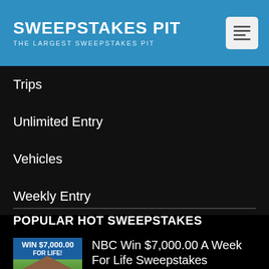SWEEPSTAKES PIT — THE LARGEST SWEEPSTAKES PIT
Trips
Unlimited Entry
Vehicles
Weekly Entry
POPULAR HOT SWEEPSTAKES
NBC Win $7,000.00 A Week For Life Sweepstakes
You'd get $7,000.00 a week for life, then after that, someone you choose gets $7,000.00 a week for their life!